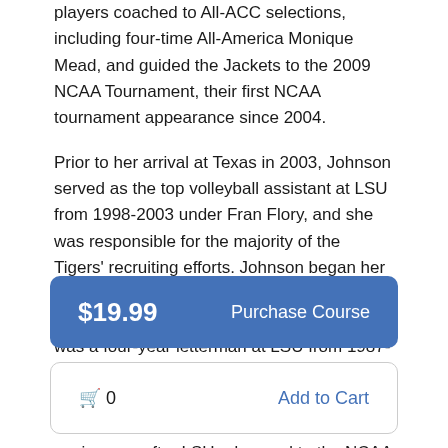players coached to All-ACC selections, including four-time All-America Monique Mead, and guided the Jackets to the 2009 NCAA Tournament, their first NCAA tournament appearance since 2004.
Prior to her arrival at Texas in 2003, Johnson served as the top volleyball assistant at LSU from 1998-2003 under Fran Flory, and she was responsible for the majority of the Tigers' recruiting efforts. Johnson began her collegiate coaching career as an assistant under Flory at Kentucky in 1995. Johnson was a four-year letterman at LSU from 1987-90, helping the Tigers to Southeastern Conference titles in 1989 and 1990. She led her Tiger team to the NCAA Final Four her senior year after LSU advanced to the NCAA Sweet 16 in 1989. Prior to joining
$19.99   Purchase Course
🛒 0   Add to Cart